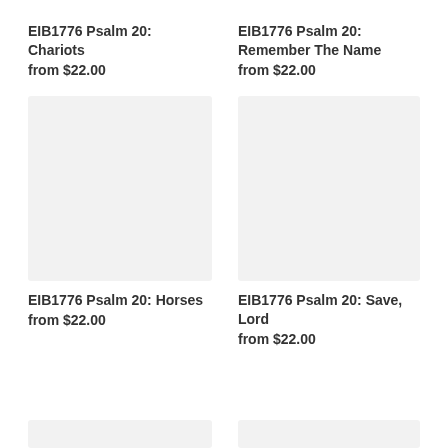EIB1776 Psalm 20: Chariots
from $22.00
EIB1776 Psalm 20: Remember The Name
from $22.00
[Figure (photo): Product image placeholder - light gray rectangle for EIB1776 Psalm 20: Horses]
[Figure (photo): Product image placeholder - light gray rectangle for EIB1776 Psalm 20: Save, Lord]
EIB1776 Psalm 20: Horses
from $22.00
EIB1776 Psalm 20: Save, Lord
from $22.00